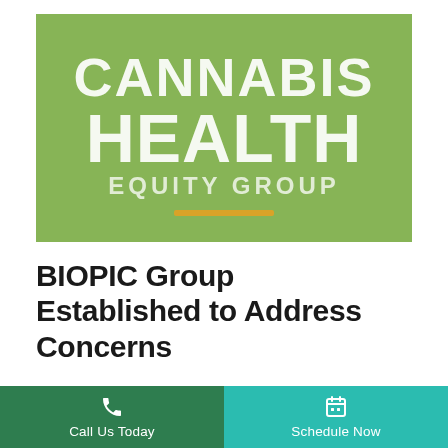[Figure (logo): Cannabis Health Equity Group logo on green background with white bold text reading CANNABIS HEALTH EQUITY GROUP and a yellow-orange underline accent]
BIOPIC Group Established to Address Concerns
The fact that marijuana legislation and enforcement in the United States has